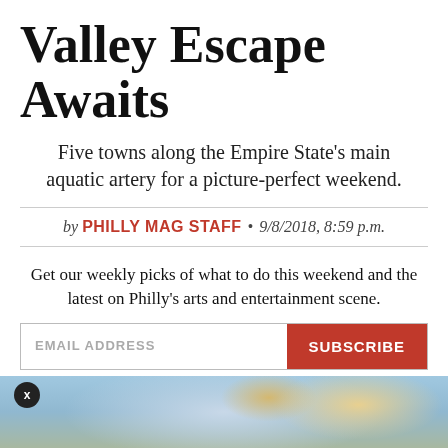Valley Escape Awaits
Five towns along the Empire State's main aquatic artery for a picture-perfect weekend.
by PHILLY MAG STAFF • 9/8/2018, 8:59 p.m.
Get our weekly picks of what to do this weekend and the latest on Philly's arts and entertainment scene.
[Figure (screenshot): Email subscription form with EMAIL ADDRESS input field and red SUBSCRIBE button]
[Figure (photo): Landscape photo strip showing sky with clouds at the bottom of the page, with a small circular close button labeled X in the bottom left corner]